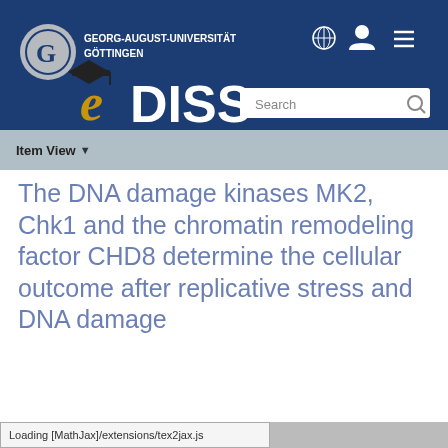[Figure (screenshot): Georg-August-Universität Göttingen university website header with logo, navigation icons (globe, user, menu), eDISS logo, and search box on dark blue background]
Item View ▾
The DNA damage kinases MK2, Chk1 and the chromatin remodeling factor CHD8 determine the cellular outcome after replicative stress and DNA damage
Loading [MathJax]/extensions/tex2jax.js